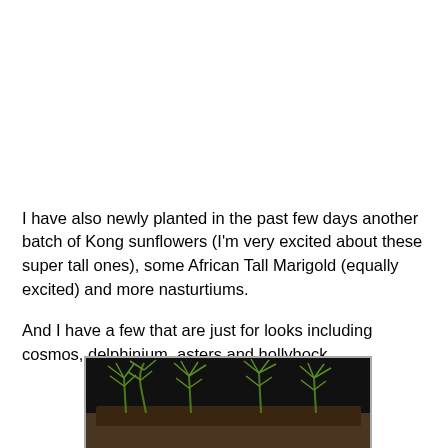I have also newly planted in the past few days another batch of Kong sunflowers (I'm very excited about these super tall ones), some African Tall Marigold (equally excited) and more nasturtiums.
And I have a few that are just for looks including cosmos, delphinium, asters and hollyhock.
[Figure (photo): Young green seedlings with feathery leaves growing in a seed tray with dark soil, against a dark background, illuminated by artificial light.]